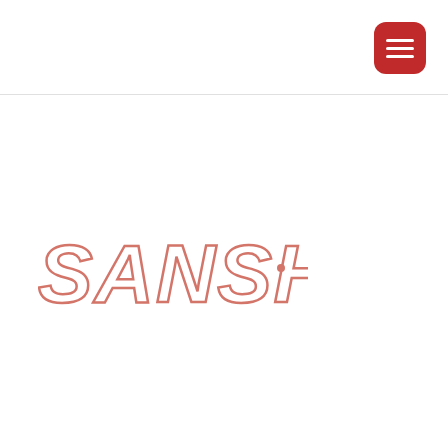[Figure (logo): Red rounded-rectangle hamburger menu icon in top-right corner]
[Figure (logo): SANSHO brand logo in muted rose/salmon color, italic stylized lettering]